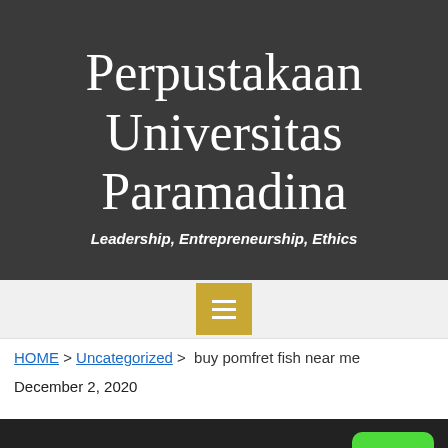Perpustakaan Universitas Paramadina
Leadership, Entrepreneurship, Ethics
[Figure (other): Hamburger menu button with three horizontal white lines on a golden/yellow background]
HOME > Uncategorized > buy pomfret fish near me
December 2, 2020
This website uses cookies to improve your experience. Learn More
Got It